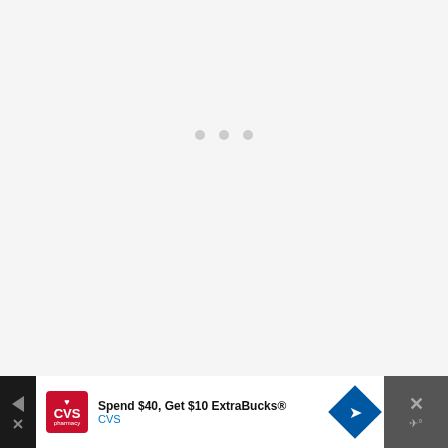[Figure (other): Loading spinner area — three small gray dots centered in a large light gray rectangle, indicating content loading]
This afternoon was glorious!
Sunny and warm and fabulous...
[Figure (other): Advertisement bar: CVS Pharmacy logo, text 'Spend $40, Get $10 ExtraBucks® CVS', blue diamond navigation icon, close button with X and weather icon]